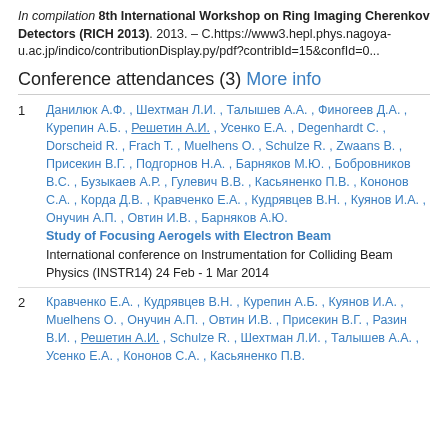In compilation 8th International Workshop on Ring Imaging Cherenkov Detectors (RICH 2013). 2013. – C.https://www3.hepl.phys.nagoya-u.ac.jp/indico/contributionDisplay.py/pdf?contribId=15&confId=0...
Conference attendances (3) More info
1. Данилюк А.Ф. , Шехтман Л.И. , Талышев А.А. , Финогеев Д.А. , Курепин А.Б. , Решетин А.И. , Усенко Е.А. , Degenhardt C. , Dorscheid R. , Frach T. , Muelhens O. , Schulze R. , Zwaans B. , Присекин В.Г. , Подгорнов Н.А. , Барняков М.Ю. , Бобровников В.С. , Бузыкаев А.Р. , Гулевич В.В. , Касьяненко П.В. , Кононов С.А. , Корда Д.В. , Кравченко Е.А. , Кудрявцев В.Н. , Куянов И.А. , Онучин А.П. , Овтин И.В. , Барняков А.Ю. — Study of Focusing Aerogels with Electron Beam — International conference on Instrumentation for Colliding Beam Physics (INSTR14) 24 Feb - 1 Mar 2014
2. Кравченко Е.А. , Кудрявцев В.Н. , Курепин А.Б. , Куянов И.А. , Muelhens O. , Онучин А.П. , Овтин И.В. , Присекин В.Г. , Разин В.И. , Решетин А.И. , Schulze R. , Шехтман Л.И. , Талышев А.А. , Усенко Е.А. , Кононов С.А. , Касьяненко П.В. ...